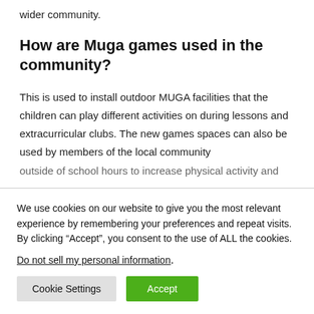wider community.
How are Muga games used in the community?
This is used to install outdoor MUGA facilities that the children can play different activities on during lessons and extracurricular clubs. The new games spaces can also be used by members of the local community outside of school hours to increase physical activity and
We use cookies on our website to give you the most relevant experience by remembering your preferences and repeat visits. By clicking “Accept”, you consent to the use of ALL the cookies.
Do not sell my personal information.